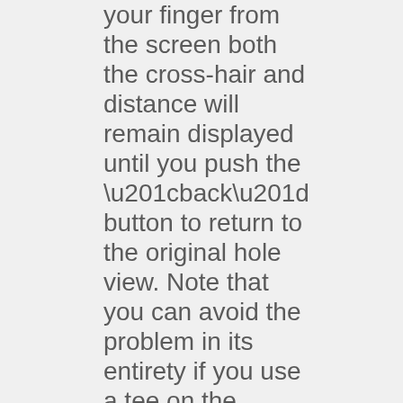your finger from the screen both the cross-hair and distance will remain displayed until you push the “back” button to return to the original hole view. Note that you can avoid the problem in its entirety if you use a tee on the touchscreen instead of a finger.